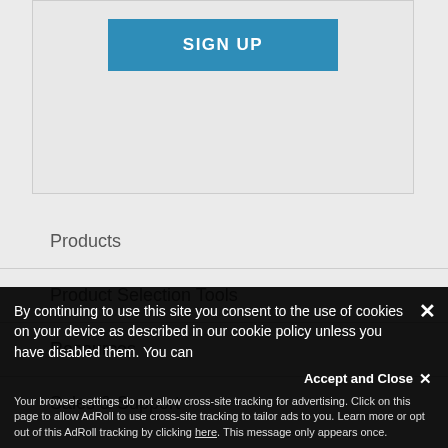[Figure (screenshot): Sign up button area - blue button with white bold text SIGN UP on a light grey background panel]
Products
Product Selection Tools
Resources
Sales & Support
By continuing to use this site you consent to the use of cookies on your device as described in our cookie policy unless you have disabled them. You can change your cookie settings at any time but parts of our site will not function correctly without them.
Accept and Close ✕
Your browser settings do not allow cross-site tracking for advertising. Click on this page to allow AdRoll to use cross-site tracking to tailor ads to you. Learn more or opt out of this AdRoll tracking by clicking here. This message only appears once.